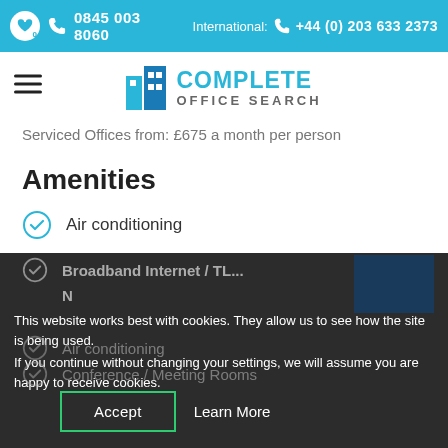0845 003 8060   International: +44 (0) 203 633 2373
[Figure (logo): Complete Office Search logo with blue building icon and blue/grey text]
Serviced Offices from: £675 a month per person
Amenities
Air conditioning
Broadband Internet / TL...
ON
Air conditioning
Conference / Meeting Rooms
A...
This website works best with cookies. They allow us to see how the site is being used.
If you continue without changing your settings, we will assume you are happy to receive cookies.
Accept   Learn More